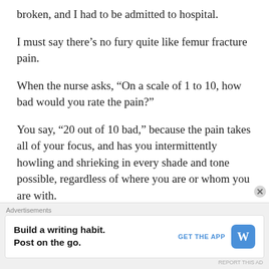broken, and I had to be admitted to hospital.
I must say there’s no fury quite like femur fracture pain.
When the nurse asks, “On a scale of 1 to 10, how bad would you rate the pain?”
You say, “20 out of 10 bad,” because the pain takes all of your focus, and has you intermittently howling and shrieking in every shade and tone possible, regardless of where you are or whom you are with.
The femur is one of the strongest bone in the body. When I was admitted to hospital, what the medical team did in the quickest fashion possible; was to stick a catheter up
Advertisements
Build a writing habit.
Post on the go.